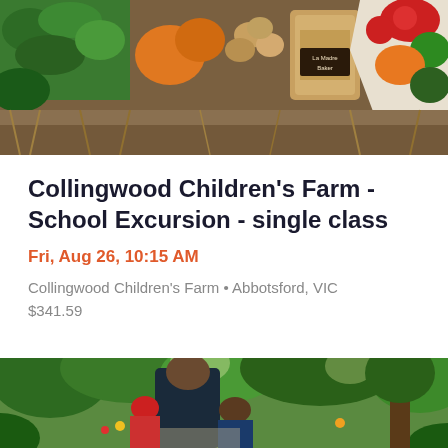[Figure (photo): A flat lay photo of farm produce including vegetables, eggs, herbs, grains in bags, with a label reading 'La Madre Baker']
Collingwood Children's Farm - School Excursion - single class
Fri, Aug 26, 10:15 AM
Collingwood Children's Farm • Abbotsford, VIC
$341.59
[Figure (photo): A person and two children walking through a lush green garden path, viewed from behind. The children wear hats.]